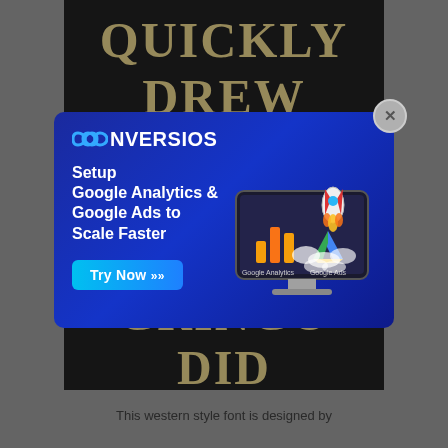[Figure (screenshot): Background book page with large golden serif text on black background reading: QUICKLY / DREW / THE X / GRINGO / DID]
[Figure (screenshot): Conversios advertisement modal popup on blue gradient background. Logo: infinity symbol + NVERSIOS. Headline: Setup Google Analytics & Google Ads to Scale Faster. Button: Try Now >>. Right side shows illustration of computer monitor with rocket launching, Google Analytics and Google Ads logos.]
This western style font is designed by